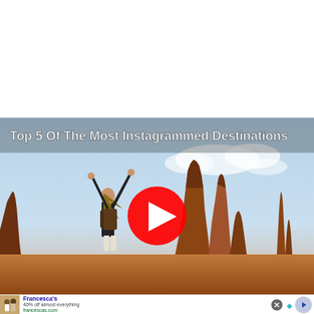[Figure (screenshot): Video thumbnail showing a woman with arms raised and a backpack looking at Monument Valley red rock formations. Overlaid text reads 'Top 5 Of The Most Instagrammed Destinations' and a YouTube-style red play button circle is centered on the image.]
[Figure (photo): Advertisement banner for Francesca's showing two women in an outdoor setting. Ad text: Francesca's, 40% off almost everything, francescas.com. Navigation arrow on right side.]